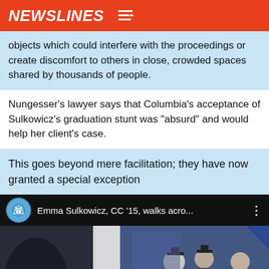NEWSLINES
objects which could interfere with the proceedings or create discomfort to others in close, crowded spaces shared by thousands of people.
Nungesser's lawyer says that Columbia's acceptance of Sulkowicz's graduation stunt was “absurd” and would help her client's case.
This goes beyond mere facilitation; they have now granted a special exception
[Figure (screenshot): YouTube video thumbnail showing Emma Sulkowicz, CC '15, walks acro... with a graduation ceremony scene. A Columbia University crown logo is shown as the channel icon.]